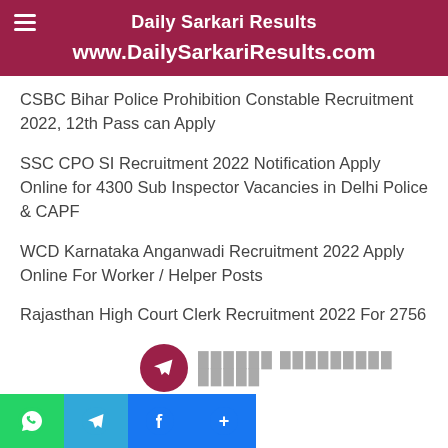Daily Sarkari Results
www.DailySarkariResults.com
CSBC Bihar Police Prohibition Constable Recruitment 2022, 12th Pass can Apply
SSC CPO SI Recruitment 2022 Notification Apply Online for 4300 Sub Inspector Vacancies in Delhi Police & CAPF
WCD Karnataka Anganwadi Recruitment 2022 Apply Online For Worker / Helper Posts
Rajasthan High Court Clerk Recruitment 2022 For 2756
[Figure (infographic): Telegram notification banner and social sharing icons (WhatsApp, Telegram, Facebook, Share+) at the bottom of the page]